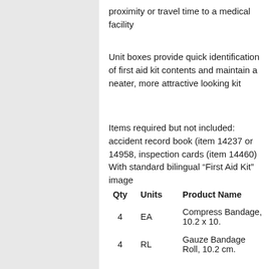proximity or travel time to a medical facility
Unit boxes provide quick identification of first aid kit contents and maintain a neater, more attractive looking kit
Items required but not included: accident record book (item 14237 or 14958, inspection cards (item 14460)
With standard bilingual “First Aid Kit” image
| Qty | Units | Product Name |
| --- | --- | --- |
| 4 | EA | Compress Bandage, 10.2 x 10. |
| 4 | RL | Gauze Bandage Roll, 10.2 cm. |